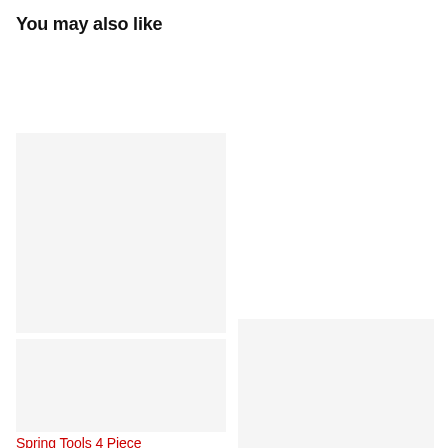You may also like
[Figure (photo): Product image placeholder (light gray rectangle, top-left product card)]
[Figure (photo): Product image placeholder (light gray rectangle, bottom-left product card)]
[Figure (photo): Product image placeholder (light gray rectangle, bottom-right product card)]
Spring Tools 4 Piece